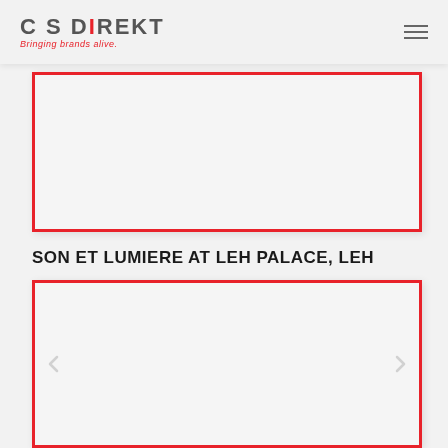CS DIREKT - Bringing brands alive.
[Figure (photo): Image placeholder box with red border, representing a photo or media content area from CS Direkt portfolio]
SON ET LUMIERE AT LEH PALACE, LEH
[Figure (photo): Image placeholder box with red border and navigation arrows, representing a photo carousel of Son et Lumiere at Leh Palace]